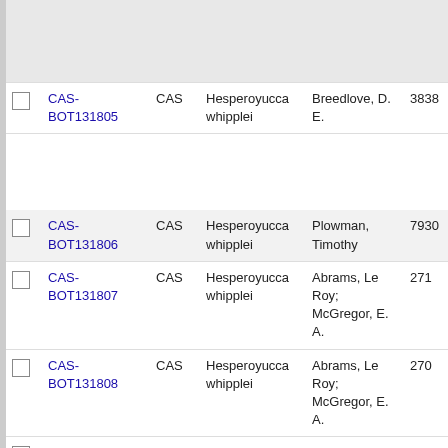|  | ID | Source | Species | Collector | No. |
| --- | --- | --- | --- | --- | --- |
|  | CAS-BOT131805 | CAS | Hesperoyucca whipplei | Breedlove, D. E. | 3838 |
|  | CAS-BOT131806 | CAS | Hesperoyucca whipplei | Plowman, Timothy | 7930 |
|  | CAS-BOT131807 | CAS | Hesperoyucca whipplei | Abrams, Le Roy; McGregor, E. A. | 271 |
|  | CAS-BOT131808 | CAS | Hesperoyucca whipplei | Abrams, Le Roy; McGregor, E. A. | 270 |
|  | CAS-... | CAS | Hesperoyucca... | Abrams, L. R... | 11992 |